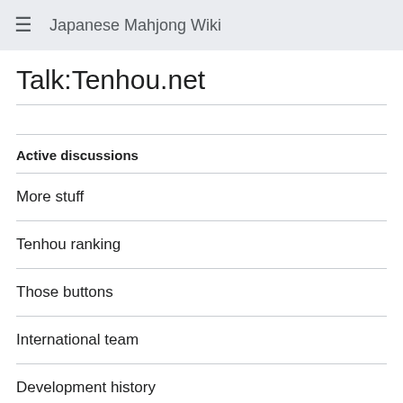Japanese Mahjong Wiki
Talk:Tenhou.net
Active discussions
More stuff
Tenhou ranking
Those buttons
International team
Development history